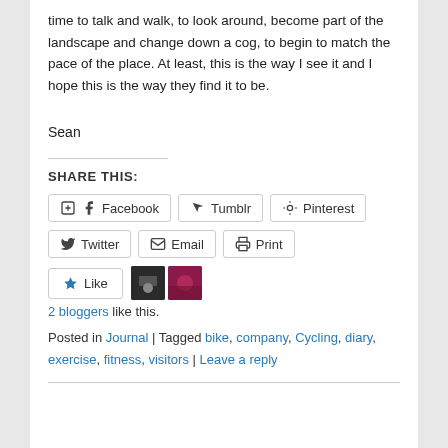time to talk and walk, to look around, become part of the landscape and change down a cog, to begin to match the pace of the place. At least, this is the way I see it and I hope this is the way they find it to be.
Sean
SHARE THIS:
Facebook
Tumblr
Pinterest
Twitter
Email
Print
2 bloggers like this.
Posted in Journal | Tagged bike, company, Cycling, diary, exercise, fitness, visitors | Leave a reply